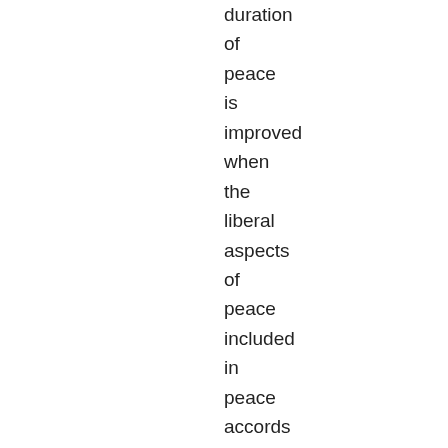duration of peace is improved when the liberal aspects of peace included in peace accords are implemented. In addition, the article examines